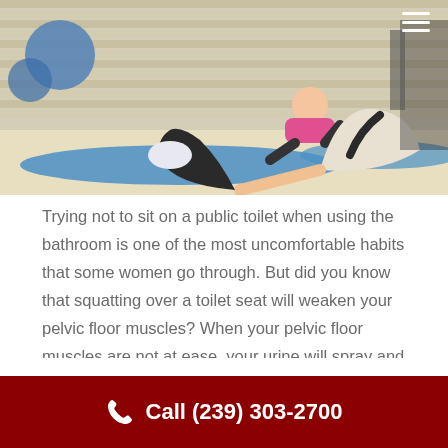[Figure (photo): Women doing bridge pose / glute bridge exercise on blue yoga mats in a gym, with exercise balls and equipment in the background.]
Trying not to sit on a public toilet when using the bathroom is one of the most uncomfortable habits that some women go through. But did you know that squatting over a toilet seat will weaken your pelvic floor muscles? When your pelvic floor muscles are not at ease, your urine will spray and splatter onto the toilet seat. Weak Pelvic muscles over time will cause your bladder to not empty. Your body will start to signal that your bladder is full when it’s still empty, causing
Call (239) 303-2700